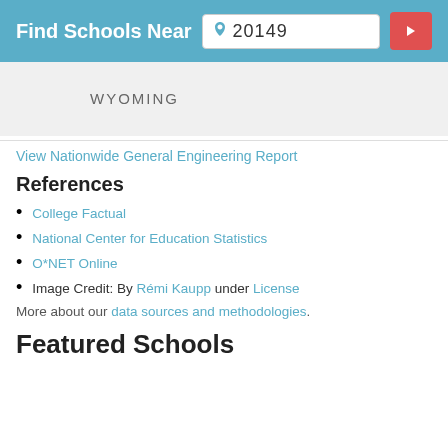Find Schools Near 20149
WYOMING
View Nationwide General Engineering Report
References
College Factual
National Center for Education Statistics
O*NET Online
Image Credit: By Rémi Kaupp under License
More about our data sources and methodologies.
Featured Schools